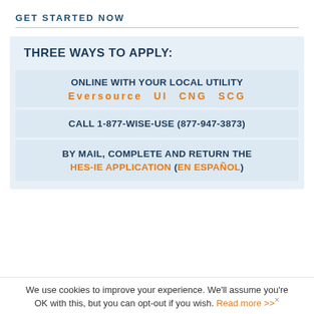GET STARTED NOW
THREE WAYS TO APPLY:
ONLINE WITH YOUR LOCAL UTILITY
Eversource   UI   CNG   SCG
CALL 1-877-WISE-USE (877-947-3873)
BY MAIL, COMPLETE AND RETURN THE HES-IE APPLICATION (EN ESPAÑOL)
We use cookies to improve your experience. We'll assume you're OK with this, but you can opt-out if you wish. Read more >>